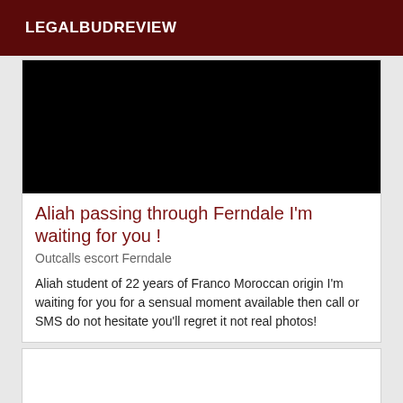LEGALBUDREVIEW
[Figure (photo): Black image area, likely a placeholder or blacked-out photo]
Aliah passing through Ferndale I'm waiting for you !
Outcalls escort Ferndale
Aliah student of 22 years of Franco Moroccan origin I'm waiting for you for a sensual moment available then call or SMS do not hesitate you'll regret it not real photos!